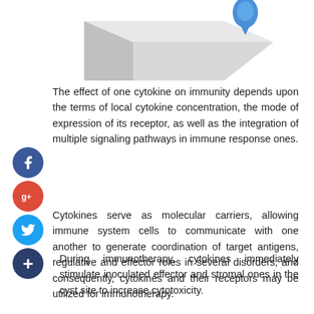[Figure (illustration): Partial view of a 3D geometric shape (light gray/blue cube or box) with a blue teardrop/drop element at top right, on white background.]
The effect of one cytokine on immunity depends upon the terms of local cytokine concentration, the mode of expression of its receptor, as well as the integration of multiple signaling pathways in immune response ones.
Cytokines serve as molecular carriers, allowing immune system cells to communicate with one another to generate coordination of target antigens, regulative and effector roles in several disorders, and consequently, cytokines and their receptors may be utilized for immunotherapy.
During immunotherapy, cytokines immediately stimulate inoculated effector and stromal ones in the cyst site to increase cytotoxicity.